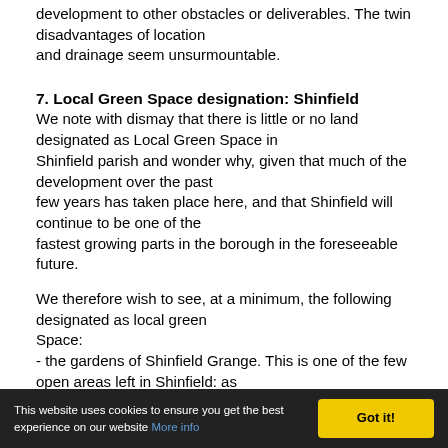development to other obstacles or deliverables. The twin disadvantages of location and drainage seem unsurmountable.
7. Local Green Space designation: Shinfield
We note with dismay that there is little or no land designated as Local Green Space in Shinfield parish and wonder why, given that much of the development over the past few years has taken place here, and that Shinfield will continue to be one of the fastest growing parts in the borough in the foreseeable future.
We therefore wish to see, at a minimum, the following designated as local green Space:
- the gardens of Shinfield Grange. This is one of the few open areas left in Shinfield: as it is, in effect, mature parkland, it should not be built on
This website uses cookies to ensure you get the best experience on our website More info  Got it!